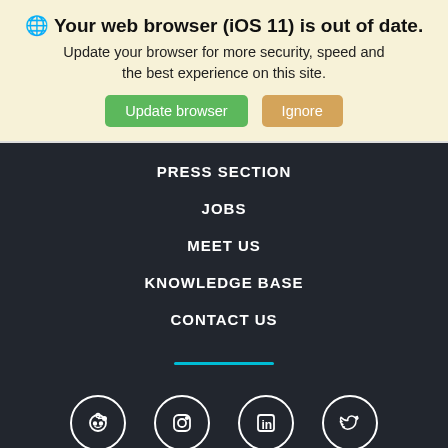🌐 Your web browser (iOS 11) is out of date. Update your browser for more security, speed and the best experience on this site.
Update browser | Ignore
PRESS SECTION
JOBS
MEET US
KNOWLEDGE BASE
CONTACT US
[Figure (other): Teal horizontal divider line]
[Figure (other): Social media icons: Reddit, Instagram, LinkedIn, Twitter in white circles on dark background]
© ALUGHA GMBH